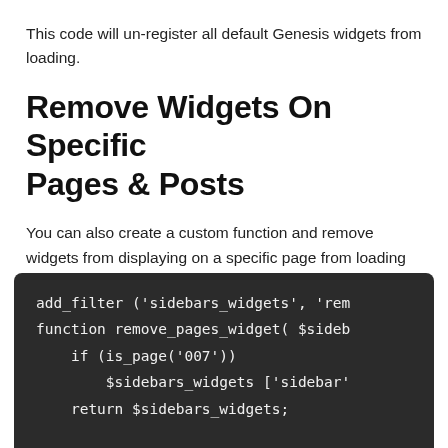This code will un-register all default Genesis widgets from loading.
Remove Widgets On Specific Pages & Posts
You can also create a custom function and remove widgets from displaying on a specific page from loading using conditional tags.
[Figure (screenshot): Dark-themed code block showing PHP code: add_filter ('sidebars_widgets', 'rem... function remove_pages_widget( $sideb... if (is_page('007')) $sidebars_widgets ['sidebar'... return $sidebars_widgets...]